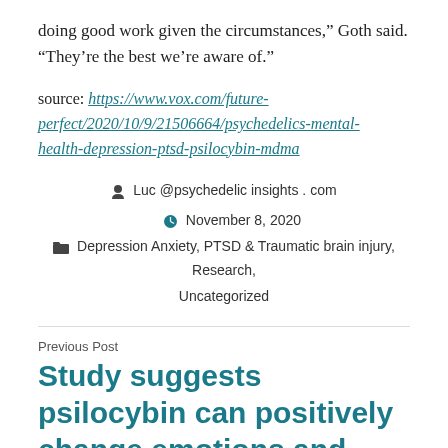doing good work given the circumstances," Goth said. “They’re the best we’re aware of.”
source: https://www.vox.com/future-perfect/2020/10/9/21506664/psychedelics-mental-health-depression-ptsd-psilocybin-mdma
Luc @psychedelic insights . com   November 8, 2020   Depression Anxiety, PTSD & Traumatic brain injury, Research, Uncategorized
Previous Post
Study suggests psilocybin can positively change emotions and